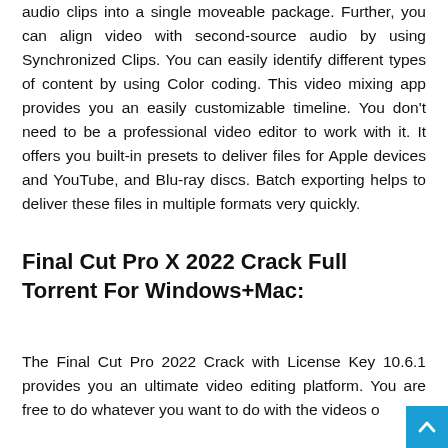audio clips into a single moveable package. Further, you can align video with second-source audio by using Synchronized Clips. You can easily identify different types of content by using Color coding. This video mixing app provides you an easily customizable timeline. You don't need to be a professional video editor to work with it. It offers you built-in presets to deliver files for Apple devices and YouTube, and Blu-ray discs. Batch exporting helps to deliver these files in multiple formats very quickly.
Final Cut Pro X 2022 Crack Full Torrent For Windows+Mac:
The Final Cut Pro 2022 Crack with License Key 10.6.1 provides you an ultimate video editing platform. You are free to do whatever you want to do with the videos o